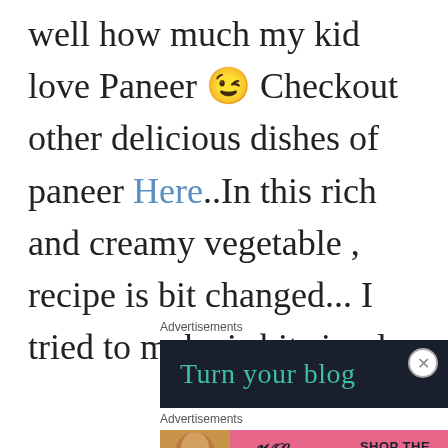well how much my kid love Paneer 😉 Checkout other delicious dishes of paneer Here..In this rich and creamy vegetable , recipe is bit changed... I tried to make is bit simple.
Advertisements
[Figure (screenshot): Dark advertisement banner with teal text reading 'Turn your blog']
[Figure (screenshot): Victoria's Secret advertisement banner with pink background showing 'SHOP THE COLLECTION' and 'SHOP NOW' button]
Advertisements